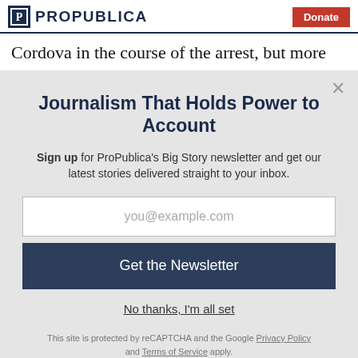ProPublica | Donate
Cordova in the course of the arrest, but more than three years later, he has yet to face an administrative
Journalism That Holds Power to Account
Sign up for ProPublica's Big Story newsletter and get our latest stories delivered straight to your inbox.
you@example.com
Get the Newsletter
No thanks, I'm all set
This site is protected by reCAPTCHA and the Google Privacy Policy and Terms of Service apply.